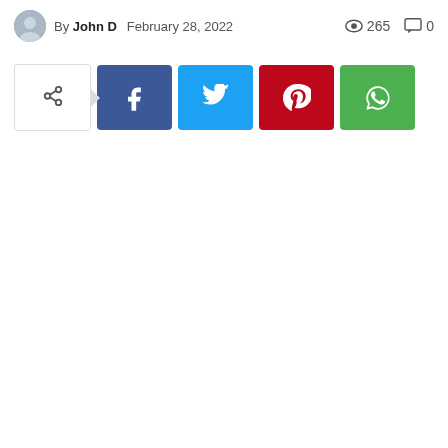By John D  February 28, 2022  265  0
[Figure (screenshot): Social share bar with share toggle button, Facebook, Twitter, Pinterest, and WhatsApp buttons]